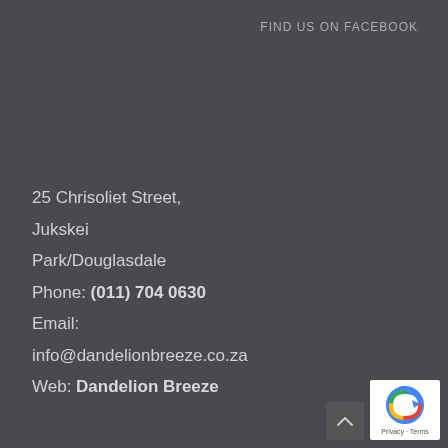FIND US ON FACEBOOK
25 Chrisoliet Street,
Jukskei
Park/Douglasdale
Phone: (011) 704 0630
Email:
info@dandelionbreeze.co.za
Web: Dandelion Breeze